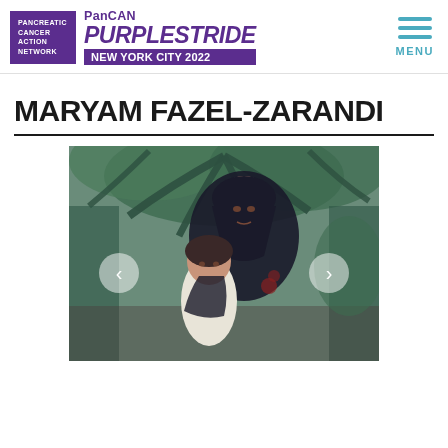PanCAN PURPLESTRIDE NEW YORK CITY 2022
MARYAM FAZEL-ZARANDI
[Figure (photo): Vintage photo of a woman wearing a black headscarf holding a young child in a white dress, with palm trees and green foliage in the background. Navigation arrow buttons on left and right sides.]